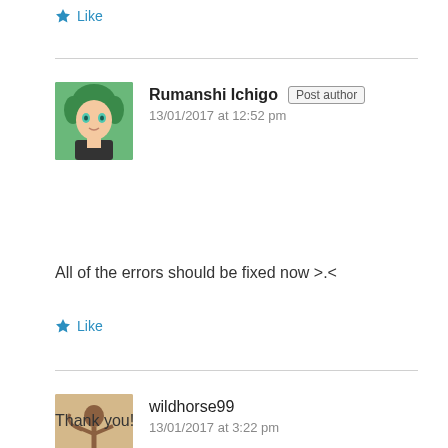Like
Rumanshi Ichigo  Post author
13/01/2017 at 12:52 pm
All of the errors should be fixed now >.<
Like
wildhorse99
13/01/2017 at 3:22 pm
Thank you!